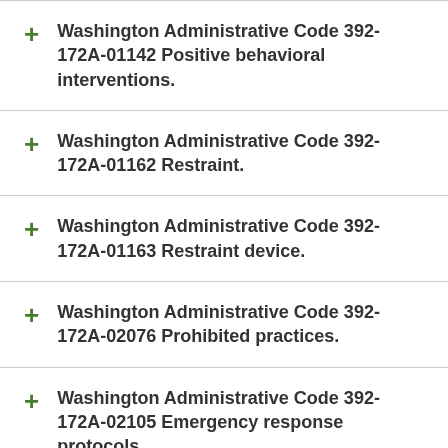Washington Administrative Code 392-172A-01142 Positive behavioral interventions.
Washington Administrative Code 392-172A-01162 Restraint.
Washington Administrative Code 392-172A-01163 Restraint device.
Washington Administrative Code 392-172A-02076 Prohibited practices.
Washington Administrative Code 392-172A-02105 Emergency response protocols.